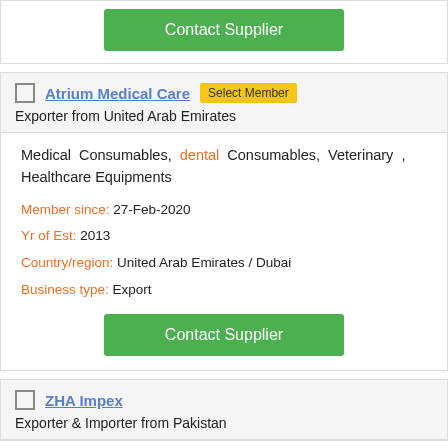[Figure (other): Contact Supplier green button at top of page]
Atrium Medical Care
Exporter from United Arab Emirates
Medical Consumables, dental Consumables, Veterinary , Healthcare Equipments
Member since: 27-Feb-2020
Yr of Est: 2013
Country/region: United Arab Emirates / Dubai
Business type: Export
[Figure (other): Contact Supplier green button]
ZHA Impex
Exporter & Importer from Pakistan